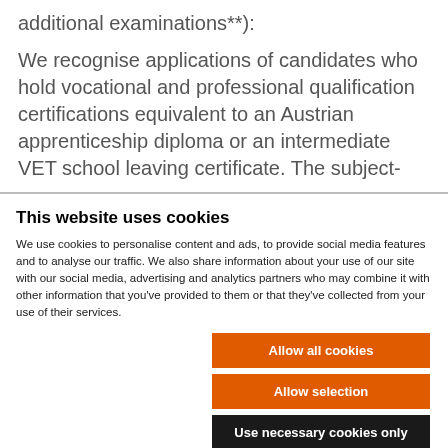additional examinations*):
We recognise applications of candidates who hold vocational and professional qualification certifications equivalent to an Austrian apprenticeship diploma or an intermediate VET school leaving certificate. The subject-
This website uses cookies
We use cookies to personalise content and ads, to provide social media features and to analyse our traffic. We also share information about your use of our site with our social media, advertising and analytics partners who may combine it with other information that you've provided to them or that they've collected from your use of their services.
Allow all cookies
Allow selection
Use necessary cookies only
Necessary  Preferences  Statistics  Marketing  Show details